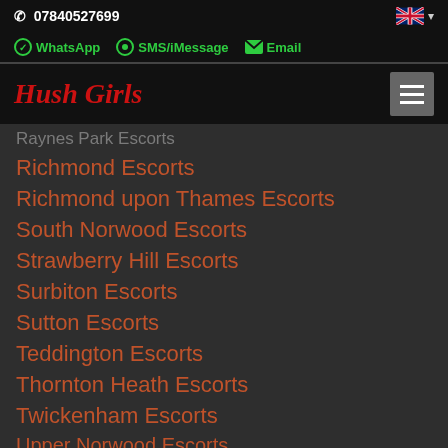07840527699
WhatsApp  SMS/iMessage  Email
Hush Girls
Raynes Park Escorts
Richmond Escorts
Richmond upon Thames Escorts
South Norwood Escorts
Strawberry Hill Escorts
Surbiton Escorts
Sutton Escorts
Teddington Escorts
Thornton Heath Escorts
Twickenham Escorts
Upper Norwood Escorts